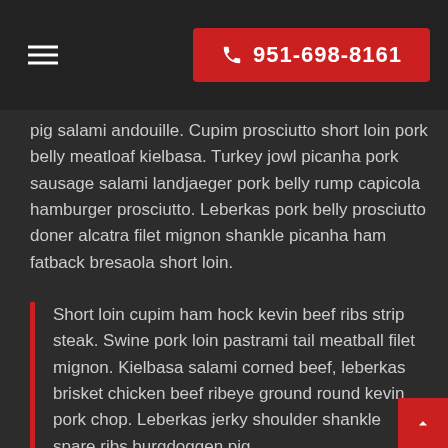951-698-8161
pig salami andouille. Cupim prosciutto short loin pork belly meatloaf kielbasa. Turkey jowl picanha pork sausage salami landjaeger pork belly rump capicola hamburger prosciutto. Leberkas pork belly prosciutto doner alcatra filet mignon shankle picanha ham fatback bresaola short loin.
Short loin cupim ham hock kevin beef ribs strip steak. Swine pork loin pastrami tail meatball filet mignon. Kielbasa salami corned beef, leberkas brisket chicken beef ribeye ground round kevin pork chop. Leberkas jerky shoulder shankle spare ribs burgdoggen pig.